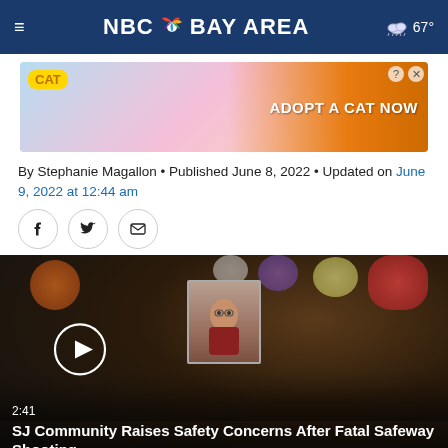NBC Bay Area — 67°
[Figure (photo): Advertisement banner: Cat game ad with cartoon cats, 'ADOPT A CAT NOW' text]
By Stephanie Magallon • Published June 8, 2022 • Updated on June 9, 2022 at 12:44 am
[Figure (other): Social share icons: Facebook, Twitter, Email]
[Figure (photo): Video thumbnail showing a memorial with flowers, candles, and a framed photo. Play button overlay. Duration 2:41. Title: SJ Community Raises Safety Concerns After Fatal Safeway Shooting]